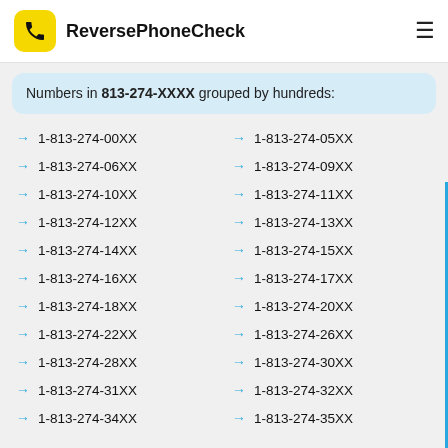ReversePhoneCheck
Numbers in 813-274-XXXX grouped by hundreds:
1-813-274-00XX
1-813-274-05XX
1-813-274-06XX
1-813-274-09XX
1-813-274-10XX
1-813-274-11XX
1-813-274-12XX
1-813-274-13XX
1-813-274-14XX
1-813-274-15XX
1-813-274-16XX
1-813-274-17XX
1-813-274-18XX
1-813-274-20XX
1-813-274-22XX
1-813-274-26XX
1-813-274-28XX
1-813-274-30XX
1-813-274-31XX
1-813-274-32XX
1-813-274-34XX
1-813-274-35XX